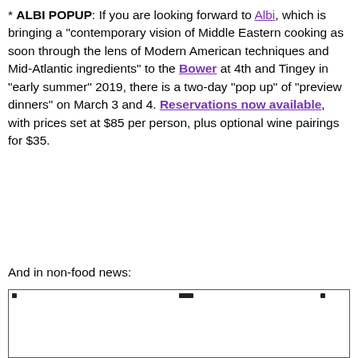* ALBI POPUP: If you are looking forward to Albi, which is bringing a "contemporary vision of Middle Eastern cooking as soon through the lens of Modern American techniques and Mid-Atlantic ingredients" to the Bower at 4th and Tingey in "early summer" 2019, there is a two-day "pop up" of "preview dinners" on March 3 and 4. Reservations now available, with prices set at $85 per person, plus optional wine pairings for $35.
And in non-food news:
[Figure (photo): Partially visible image with a bordered rectangle, mostly white/blank with small dark marks at top corners and center-top edge.]